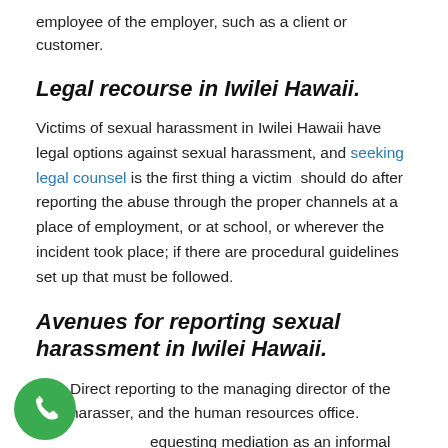employee of the employer, such as a client or customer.
Legal recourse in Iwilei Hawaii.
Victims of sexual harassment in Iwilei Hawaii have legal options against sexual harassment, and seeking legal counsel is the first thing a victim should do after reporting the abuse through the proper channels at a place of employment, or at school, or wherever the incident took place; if there are procedural guidelines set up that must be followed.
Avenues for reporting sexual harassment in Iwilei Hawaii.
Direct reporting to the managing director of the harasser, and the human resources office.
Requesting mediation as an informal solution to resolve the office problems utilizing the services of a